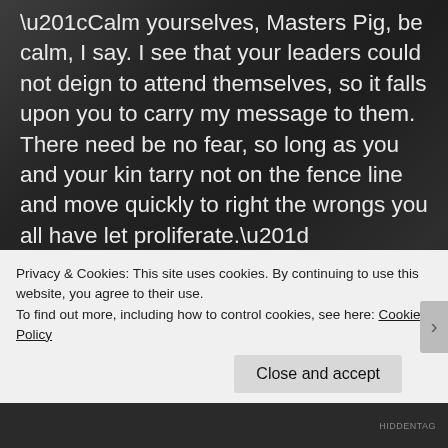“Calm yourselves, Masters Pig, be calm, I say. I see that your leaders could not deign to attend themselves, so it falls upon you to carry my message to them. There need be no fear, so long as you and your kin tarry not on the fence line and move quickly to right the wrongs you all have let proliferate.”
The deluge of words had a calming effect on the three pigs; verbosity and purple prose was their element. They slowly rose to hoof and displayed
Privacy & Cookies: This site uses cookies. By continuing to use this website, you agree to their use.
To find out more, including how to control cookies, see here: Cookie Policy
Close and accept
HIDDENTAG